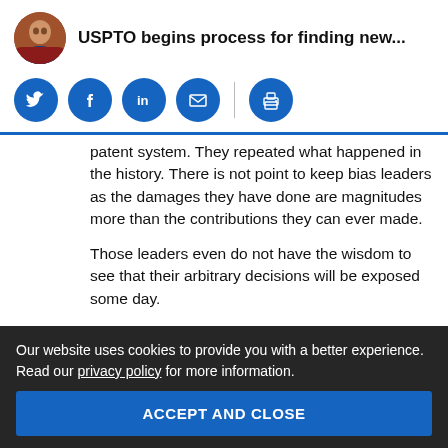USPTO begins process for finding new...
[Figure (other): Social sharing icons: Twitter, Facebook, LinkedIn, Email, Print]
patent system. They repeated what happened in the history. There is not point to keep bias leaders as the damages they have done are magnitudes more than the contributions they can ever made.
Those leaders even do not have the wisdom to see that their arbitrary decisions will be exposed some day.
Our website uses cookies to provide you with a better experience. Read our privacy policy for more information.
ACCEPT AND CLOSE